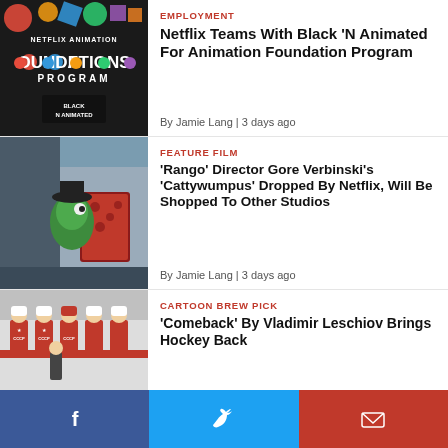[Figure (photo): Netflix Animation Foundations Program logo with colorful geometric shapes on dark background, with Black N Animated partnership logo]
EMPLOYMENT
Netflix Teams With Black 'N Animated For Animation Foundation Program
By Jamie Lang | 3 days ago
[Figure (photo): Still from animated film showing a green chameleon-like character near hanging red patterned fabric on a city street]
FEATURE FILM
'Rango' Director Gore Verbinski's 'Cattywumpus' Dropped By Netflix, Will Be Shopped To Other Studios
By Jamie Lang | 3 days ago
[Figure (photo): Still from animated film showing retro Soviet-style hockey players in red uniforms]
CARTOON BREW PICK
'Comeback' By Vladimir Leschiov Brings Hockey Back
Facebook | Twitter | Email